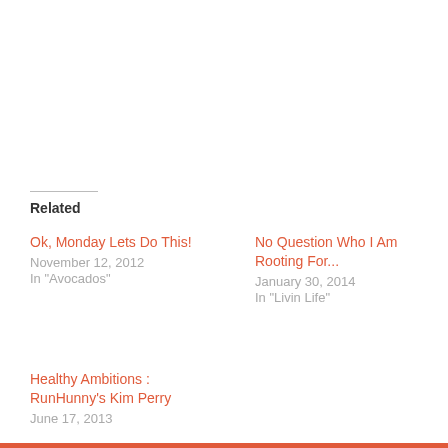Related
Ok, Monday Lets Do This!
November 12, 2012
In "Avocados"
No Question Who I Am Rooting For...
January 30, 2014
In "Livin Life"
Healthy Ambitions : RunHunny's Kim Perry
June 17, 2013
Privacy & Cookies: This site uses cookies. By continuing to use this website, you agree to their use.
To find out more, including how to control cookies, see here: Cookie Policy
Close and accept